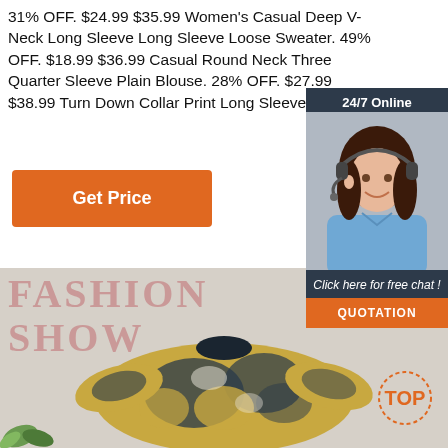31% OFF. $24.99 $35.99 Women's Casual Deep V-Neck Long Sleeve Long Sleeve Loose Sweater. 49% OFF. $18.99 $36.99 Casual Round Neck Three Quarter Sleeve Plain Blouse. 28% OFF. $27.99 $38.99 Turn Down Collar Print Long Sleeve Blouse.
[Figure (other): Orange 'Get Price' button]
[Figure (infographic): 24/7 Online chat widget with agent photo, 'Click here for free chat!' text, and orange QUOTATION button]
[Figure (photo): Fashion Show banner with tie-dye sweater photo, large pink serif FASHION SHOW text, and TOP badge icon]